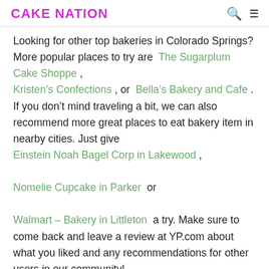CAKE NATION
Looking for other top bakeries in Colorado Springs? More popular places to try are The Sugarplum Cake Shoppe , Kristen’s Confections , or Bella’s Bakery and Cafe . If you don’t mind traveling a bit, we can also recommend more great places to eat bakery item in nearby cities. Just give Einstein Noah Bagel Corp in Lakewood , Nomelie Cupcake in Parker or Walmart – Bakery in Littleton a try. Make sure to come back and leave a review at YP.com about what you liked and any recommendations for other users in our community!
Nothing Bundt Cakes Colorado Springs